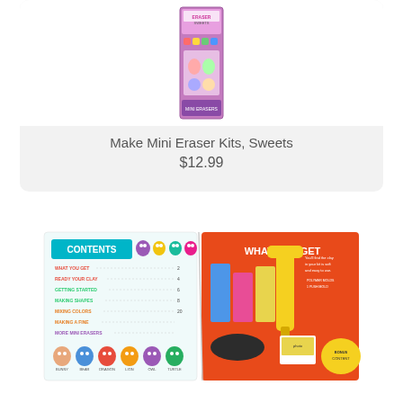[Figure (photo): Product photo of Make Mini Eraser Kits, Sweets box packaging shown vertically]
Make Mini Eraser Kits, Sweets
$12.99
[Figure (photo): Open book/kit showing Contents page and What You Get page with colorful mini eraser characters and craft tools]